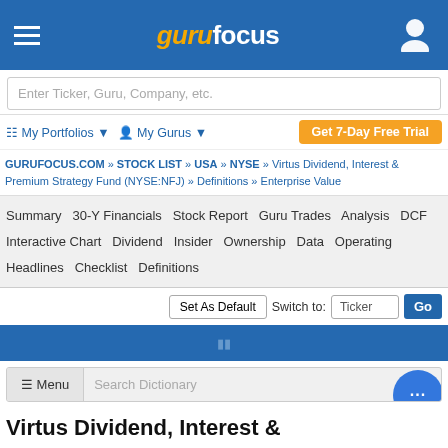gurufocus
Enter Ticker, Guru, Company, etc.
My Portfolios ▼   My Gurus ▼   Get 7-Day Free Trial
GURUFOCUS.COM » STOCK LIST » USA » NYSE » Virtus Dividend, Interest & Premium Strategy Fund (NYSE:NFJ) » Definitions » Enterprise Value
Summary   30-Y Financials   Stock Report   Guru Trades   Analysis   DCF   Interactive Chart   Dividend   Insider   Ownership   Data   Operating   Headlines   Checklist   Definitions
Set As Default   Switch to: Ticker   Go
≡ Menu   Search Dictionary
Virtus Dividend, Interest &